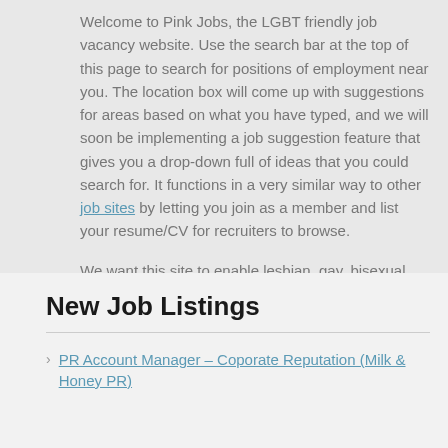Welcome to Pink Jobs, the LGBT friendly job vacancy website. Use the search bar at the top of this page to search for positions of employment near you. The location box will come up with suggestions for areas based on what you have typed, and we will soon be implementing a job suggestion feature that gives you a drop-down full of ideas that you could search for. It functions in a very similar way to other job sites by letting you join as a member and list your resume/CV for recruiters to browse.
We want this site to enable lesbian, gay, bisexual, and transgender friendly individuals and employers to locate candidates and jobs near to them. Hopefully we are providing you the tools to do this. The site also includes information about Pink Jobs, enables you to contact us, and also provides information of gay jobs, employment, and friendly employers.
Integrate LinkedIn to Hubspot Connections
New Job Listings
PR Account Manager – Coporate Reputation (Milk & Honey PR)